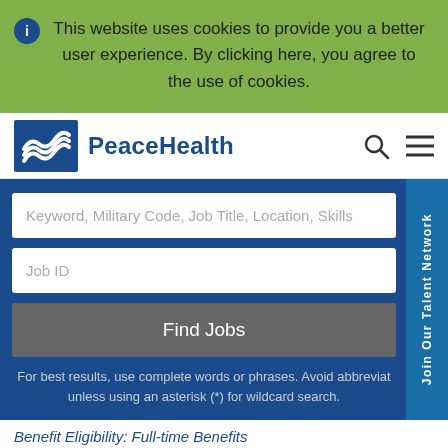This website uses cookies to provide you a better user experience. By clicking here, you agree to the use of cookies.
[Figure (logo): PeaceHealth logo with wave symbol in blue square and PeaceHealth text]
Keyword, Military Code, Job Title, Location, Skills
Job ID
Find Jobs
For best results, use complete words or phrases. Avoid abbreviat unless using an asterisk (*) for wildcard search.
Join Our Talent Network
Benefit Eligibility: Full-time Benefits
Florence, OR